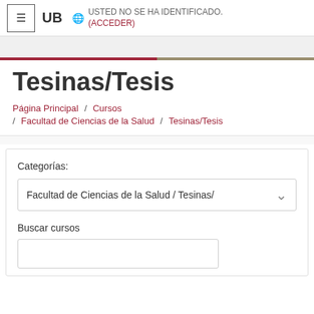≡  UB  🌐 USTED NO SE HA IDENTIFICADO. (ACCEDER)
Tesinas/Tesis
Página Principal / Cursos / Facultad de Ciencias de la Salud / Tesinas/Tesis
Categorías:
Facultad de Ciencias de la Salud / Tesinasᵥ
Buscar cursos